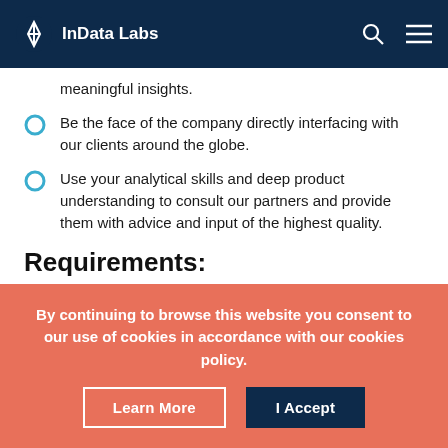InData Labs
meaningful insights.
Be the face of the company directly interfacing with our clients around the globe.
Use your analytical skills and deep product understanding to consult our partners and provide them with advice and input of the highest quality.
Requirements:
Master's degree in Statistics, Machine Learning, Mathematics, Computer Science, or any other related
By continuing to browse this website you consent to our use of cookies in accordance with our cookies policy.
Learn More | I Accept